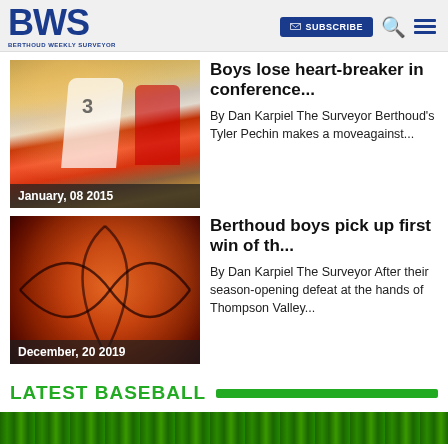BWS BERTHOUD WEEKLY SURVEYOR — SUBSCRIBE
[Figure (photo): Basketball players on court, player #3 in white Spartans jersey dribbling against red-uniformed opponent, date badge: January, 08 2015]
Boys lose heart-breaker in conference...
By Dan Karpiel The Surveyor Berthoud's Tyler Pechin makes a moveagainst...
[Figure (photo): Close-up of a basketball with dark seams on red-orange surface, date badge: December, 20 2019]
Berthoud boys pick up first win of th...
By Dan Karpiel The Surveyor After their season-opening defeat at the hands of Thompson Valley...
LATEST BASEBALL
[Figure (photo): Green grass/field background strip at the bottom of the page]